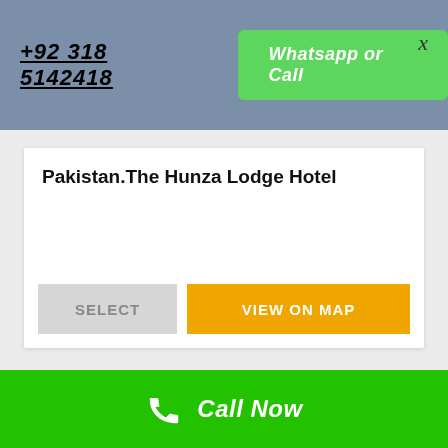+92 318 5142418
Whatsapp or Call
x
Pakistan.The Hunza Lodge Hotel
SELECT
VIEW ON MAP
[Figure (photo): Mountain landscape with snow-capped peaks under blue sky, likely Hunza valley in Pakistan]
Call Now